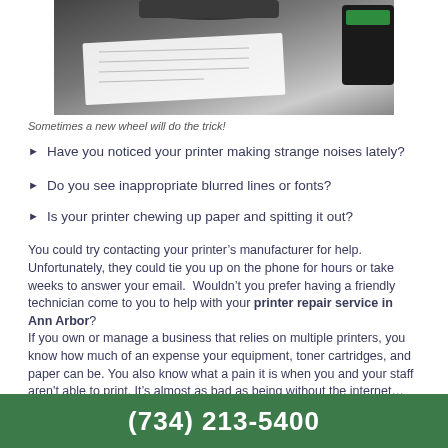[Figure (photo): Photo of a printer gear/wheel mechanism with a paper and a black device on the right side]
Sometimes a new wheel will do the trick!
Have you noticed your printer making strange noises lately?
Do you see inappropriate blurred lines or fonts?
Is your printer chewing up paper and spitting it out?
You could try contacting your printer’s manufacturer for help. Unfortunately, they could tie you up on the phone for hours or take weeks to answer your email.  Wouldn’t you prefer having a friendly technician come to you to help with your printer repair service in Ann Arbor?
If you own or manage a business that relies on multiple printers, you know how much of an expense your equipment, toner cartridges, and paper can be. You also know what a pain it is when you and your staff aren't able to print. It’s almost as bad as being without the internet…Almost! (We can probably help you with that too!)
It is very important to take care of your investment and schedule
(734) 213-5400